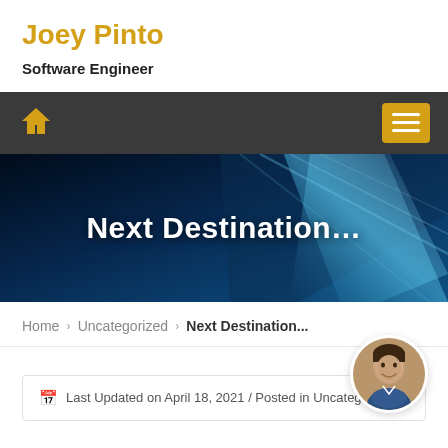Joey Pinto
Software Engineer
[Figure (screenshot): Dark navigation bar with golden home icon on left and golden hamburger menu button on right]
[Figure (photo): Hero banner image with blue tech/digital background and white bold text reading 'Next Destination...']
Home > Uncategorized > Next Destination...
[Figure (photo): Circular avatar photo of a man smiling, positioned top-right of the post area]
Last Updated on April 18, 2021 / Posted in Uncateg…